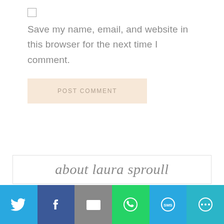Save my name, email, and website in this browser for the next time I comment.
POST COMMENT
about laura sproull
[Figure (infographic): Social sharing bar with Twitter, Facebook, Email, WhatsApp, SMS, and More buttons]